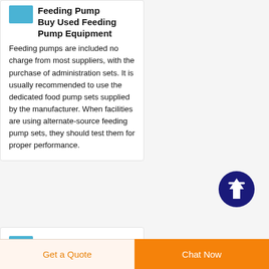[Figure (photo): Small thumbnail image of a feeding pump, blue/teal color]
Feeding Pump
Buy Used Feeding Pump Equipment
Feeding pumps are included no charge from most suppliers, with the purchase of administration sets. It is usually recommended to use the dedicated food pump sets supplied by the manufacturer. When facilities are using alternate-source feeding pump sets, they should test them for proper performance.
[Figure (illustration): Dark navy blue circular scroll-to-top button with white upward arrow and horizontal line at top]
[Figure (photo): Small thumbnail image, partially visible at bottom of page]
WORLDWIDE
Get a Quote   Chat Now